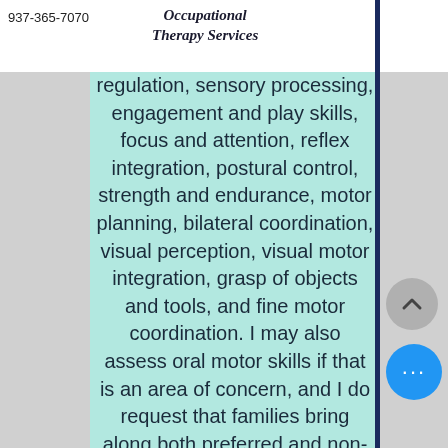937-365-7070
Occupational Therapy Services
regulation, sensory processing, engagement and play skills, focus and attention, reflex integration, postural control, strength and endurance, motor planning, bilateral coordination, visual perception, visual motor integration, grasp of objects and tools, and fine motor coordination. I may also assess oral motor skills if that is an area of concern, and I do request that families bring along both preferred and non-preferred foods and liquids of various consistencies for consumption during the